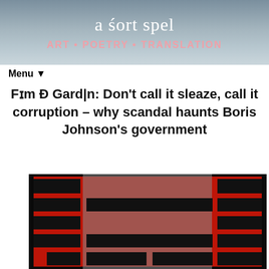a śort spel
ART • POETRY • TRANSLATION
Menu ▼
Fɪm Ð Gard|n: Don't call it sleaze, call it corruption – why scandal haunts Boris Johnson's government
[Figure (photo): Black and white photo of Boris Johnson's face overlaid with a red and black brick/bar graphic pattern on a dark background]